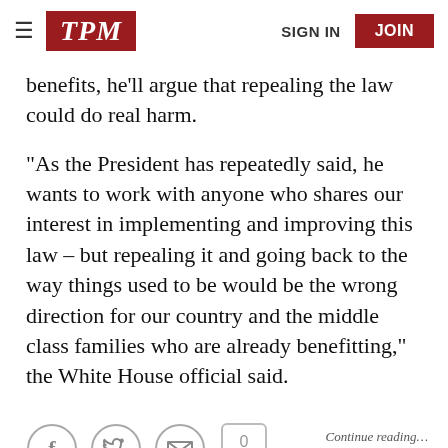TPM | SIGN IN | JOIN
benefits, he'll argue that repealing the law could do real harm.
“As the President has repeatedly said, he wants to work with anyone who shares our interest in implementing and improving this law – but repealing it and going back to the way things used to be would be the wrong direction for our country and the middle class families who are already benefitting,” the White House official said.
[Figure (infographic): Social sharing icons: Facebook, Twitter, Email, and a comment bubble with 0 count]